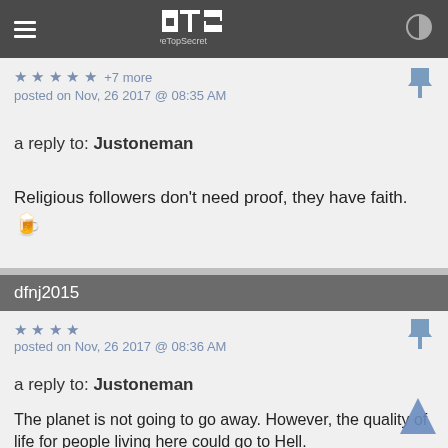ATS AboveTopSecret
posted on Nov, 26 2017 @ 08:35 AM
a reply to: Justoneman
Religious followers don't need proof, they have faith. 🍺
dfnj2015
posted on Nov, 26 2017 @ 08:36 AM
a reply to: Justoneman
The planet is not going to go away. However, the quality of life for people living here could go to Hell.

It all comes down to whether you believe in science and the motivations of scientists. Scientists are smart people. They can make money doing anything. I think Big Oil propaganda